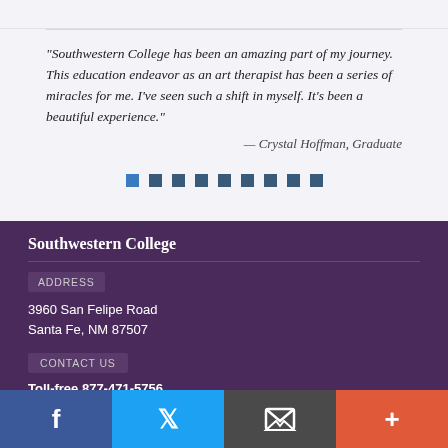"Southwestern College has been an amazing part of my journey. This education endeavor as an art therapist has been a series of miracles for me. I've seen such a shift in myself. It's been a beautiful experience."
— Crystal Hoffman, Graduate
Southwestern College
ADDRESS
3960 San Felipe Road
Santa Fe, NM 87507
CONTACT US
Toll-free 877-471-5756